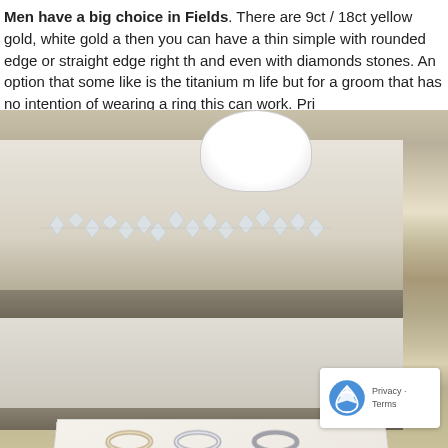Men have a big choice in Fields. There are 9ct / 18ct yellow gold, white gold a then you can have a thin simple with rounded edge or straight edge right th and even with diamonds stones. An option that some like is the titanium m life but for a groom that has no intention of wearing a ring this can work. Pri
[Figure (photo): Photo of a jewelry store display showing tiered shelves with crystal decorations and a white bowl/vase, with ring display cards at the bottom showing rings with price labels, and a reCAPTCHA Privacy Terms badge in the bottom right corner.]